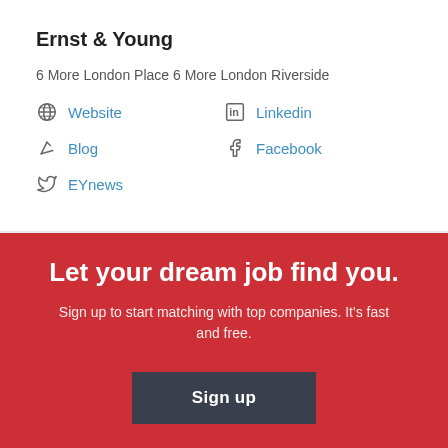Ernst & Young
6 More London Place 6 More London Riverside
Website
Linkedin
Blog
Facebook
EYnews
Let your dream job find you.
Sign up to start matching with top companies. It's fast and free.
Sign up